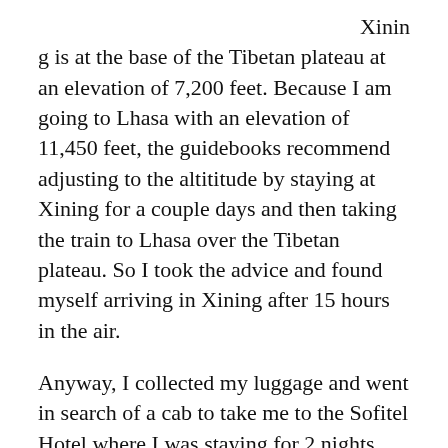Xining is at the base of the Tibetan plateau at an elevation of 7,200 feet.  Because I am going to Lhasa with an elevation of 11,450 feet, the guidebooks recommend adjusting to the altititude by staying at Xining for a couple days and then taking the train to Lhasa over the Tibetan plateau. So I took the advice and found myself arriving in Xining after 15 hours in the air.
Anyway, I collected my luggage and went in search of a cab to take me to the Sofitel Hotel where I was staying for 2 nights.  Before I left, I had one of our attorneys write out the name of the Sofitel Hotel in Mandarin so I could at least